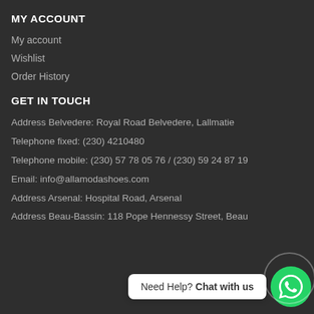MY ACCOUNT
My account
Wishlist
Order History
GET IN TOUCH
Address Belvedere: Royal Road Belvedere, Lallmatie
Telephone fixed: (230) 4210480
Telephone mobile: (230) 57 78 05 76 / (230) 59 24 87 19
Email: info@allamodashoes.com
Address Arsenal: Hospital Road, Arsenal
Address Beau-Bassin: 118 Pope Hennessy Street, Beau-Bassin